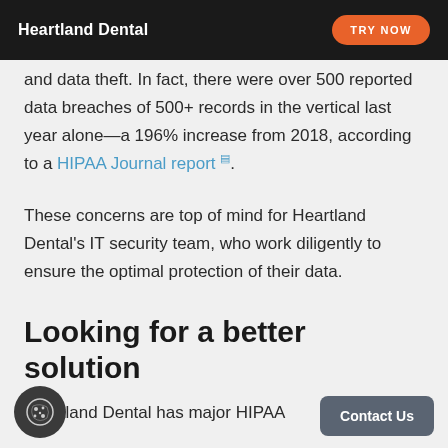Heartland Dental | TRY NOW
and data theft. In fact, there were over 500 reported data breaches of 500+ records in the vertical last year alone—a 196% increase from 2018, according to a HIPAA Journal report.
These concerns are top of mind for Heartland Dental's IT security team, who work diligently to ensure the optimal protection of their data.
Looking for a better solution
Heartland Dental has major HIPAA